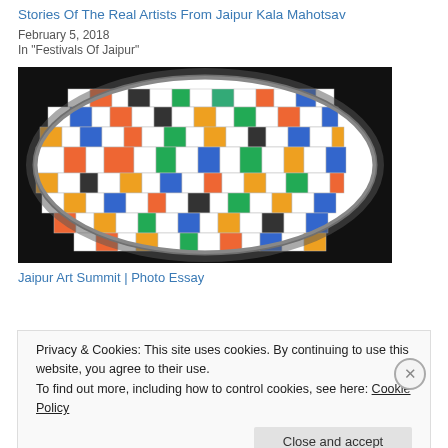Stories Of The Real Artists From Jaipur Kala Mahotsav
February 5, 2018
In "Festivals Of Jaipur"
[Figure (photo): A colorful mosaic artwork in a circular/oval frame with red, blue, yellow, green, black and white geometric tile patterns on a dark background]
Jaipur Art Summit | Photo Essay
Privacy & Cookies: This site uses cookies. By continuing to use this website, you agree to their use.
To find out more, including how to control cookies, see here: Cookie Policy